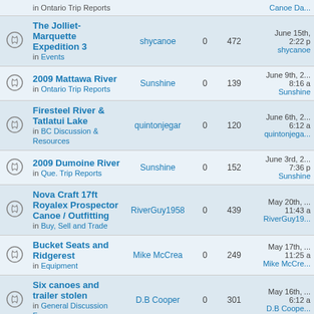|  | Topic | Author | Replies | Views | Last Post |
| --- | --- | --- | --- | --- | --- |
|  | in Ontario Trip Reports |  |  |  | Canoe Da... |
|  | The Jolliet-Marquette Expedition 3 in Events | shycanoe | 0 | 472 | June 15th, 2:22 p shycanoe |
|  | 2009 Mattawa River in Ontario Trip Reports | Sunshine | 0 | 139 | June 9th, 2... 8:16 a Sunshine |
|  | Firesteel River & Tatlatui Lake in BC Discussion & Resources | quintonjegar | 0 | 120 | June 6th, 2... 6:12 a quintonjega... |
|  | 2009 Dumoine River in Que. Trip Reports | Sunshine | 0 | 152 | June 3rd, 2... 7:36 p Sunshine |
|  | Nova Craft 17ft Royalex Prospector Canoe / Outfitting in Buy, Sell and Trade | RiverGuy1958 | 0 | 439 | May 20th, ... 11:43 a RiverGuy19... |
|  | Bucket Seats and Ridgerest in Equipment | Mike McCrea | 0 | 249 | May 17th, ... 11:25 a Mike McCre... |
|  | Six canoes and trailer stolen in General Discussion Forum | D.B Cooper | 0 | 301 | May 16th, ... 6:12 a D.B Coope... |
|  | FS/Trade: Souris River Ouatica 17l |  |  |  | May 15th, ... |